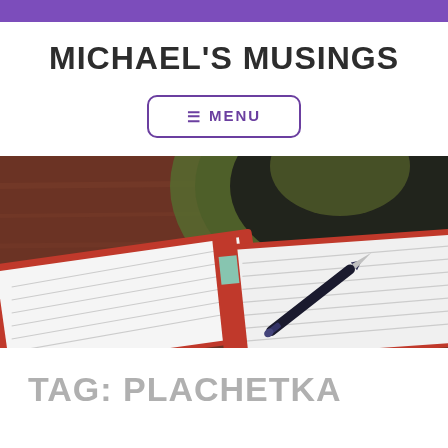MICHAEL'S MUSINGS
≡ MENU
[Figure (photo): A red notebook open on a wooden table, with a fountain pen resting on the pages and a green bowl in the background.]
TAG: PLACHETKA